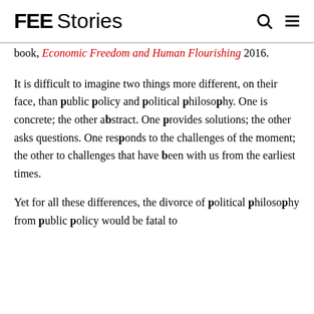FEE Stories
book, Economic Freedom and Human Flourishing 2016.
It is difficult to imagine two things more different, on their face, than public policy and political philosophy. One is concrete; the other abstract. One provides solutions; the other asks questions. One responds to the challenges of the moment; the other to challenges that have been with us from the earliest times.
Yet for all these differences, the divorce of political philosophy from public policy would be fatal to